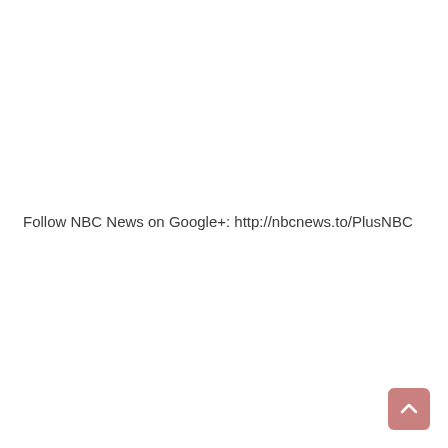Follow NBC News on Google+: http://nbcnews.to/PlusNBC
[Figure (other): Scroll-to-top button: a rounded square button with a salmon/rose color containing a white upward-pointing chevron arrow, positioned in the bottom-right corner of the page.]